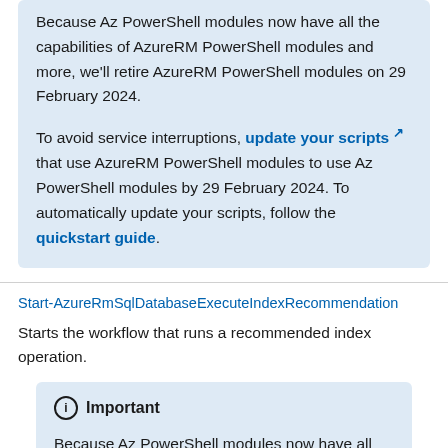Because Az PowerShell modules now have all the capabilities of AzureRM PowerShell modules and more, we'll retire AzureRM PowerShell modules on 29 February 2024.
To avoid service interruptions, update your scripts that use AzureRM PowerShell modules to use Az PowerShell modules by 29 February 2024. To automatically update your scripts, follow the quickstart guide.
Start-AzureRmSqlDatabaseExecuteIndexRecommendation
Starts the workflow that runs a recommended index operation.
Important
Because Az PowerShell modules now have all the capabilities of AzureRM PowerShell modules and more, we'll retire AzureRM PowerShell modules on 29